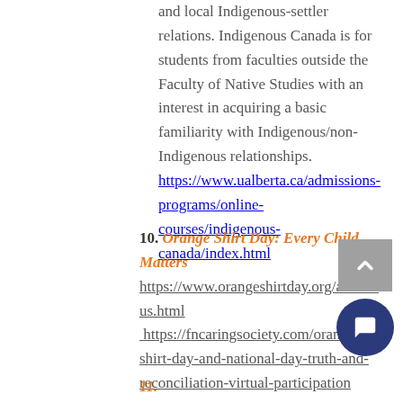and local Indigenous-settler relations. Indigenous Canada is for students from faculties outside the Faculty of Native Studies with an interest in acquiring a basic familiarity with Indigenous/non-Indigenous relationships. https://www.ualberta.ca/admissions-programs/online-courses/indigenous-canada/index.html
10. Orange Shirt Day: Every Child Matters https://www.orangeshirtday.org/about-us.html  https://fncaringsociety.com/orange-shirt-day-and-national-day-truth-and-reconciliation-virtual-participation
11. (partial, cut off)